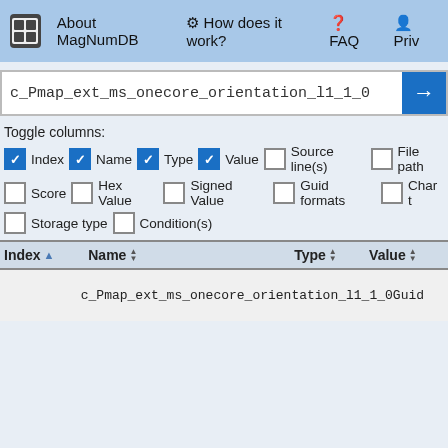About MagNumDB  How does it work?  FAQ  Priv
c_Pmap_ext_ms_onecore_orientation_l1_1_0
Toggle columns:
Index  Name  Type  Value  Source line(s)  File path
Score  Hex Value  Signed Value  Guid formats  Char t
Storage type  Condition(s)
| Index | Name | Type | Value |
| --- | --- | --- | --- |
|  | c_Pmap_ext_ms_onecore_orientation_l1_1_0 | Guid |  |